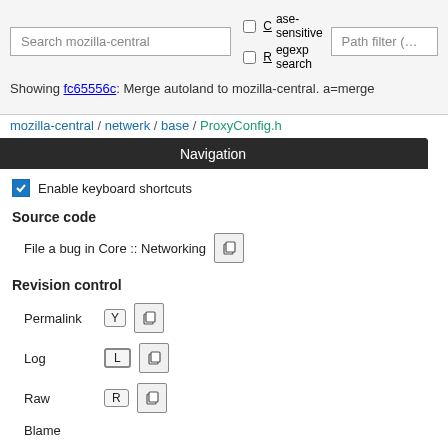[Figure (screenshot): Mozilla code search interface showing a navigation popup over source code. The top bar has a search box 'Search mozilla-central', Case-sensitive and Regexp search checkboxes, and a Path filter. Below is a breadcrumb path to ProxyConfig.h. The main area shows source code lines 1-21. A dark 'Navigation' popup overlays the right side with options: Enable keyboard shortcuts checkbox, Source code section with 'File a bug in Core :: Networking', Revision control section with Permalink (Y), Log (L), Raw (R), Blame items, and Copy as Markdown section.]